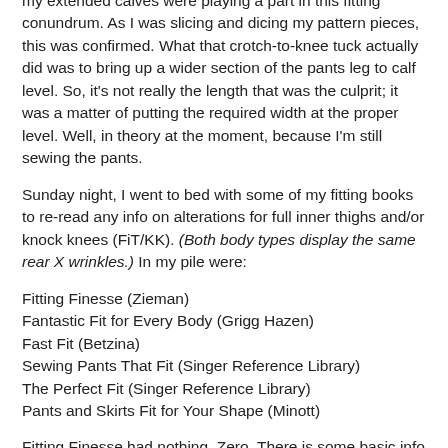my extended calves were playing a part in this fitting conundrum. As I was slicing and dicing my pattern pieces, this was confirmed. What that crotch-to-knee tuck actually did was to bring up a wider section of the pants leg to calf level. So, it's not really the length that was the culprit; it was a matter of putting the required width at the proper level. Well, in theory at the moment, because I'm still sewing the pants.
Sunday night, I went to bed with some of my fitting books to re-read any info on alterations for full inner thighs and/or knock knees (FiT/KK). (Both body types display the same rear X wrinkles.) In my pile were:
Fitting Finesse (Zieman)
Fantastic Fit for Every Body (Grigg Hazen)
Fast Fit (Betzina)
Sewing Pants That Fit (Singer Reference Library)
The Perfect Fit (Singer Reference Library)
Pants and Skirts Fit for Your Shape (Minott)
Fitting Finesse had nothing. Zero. There is some basic info